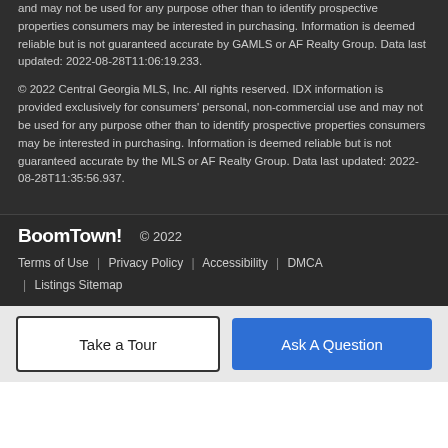and may not be used for any purpose other than to identify prospective properties consumers may be interested in purchasing. Information is deemed reliable but is not guaranteed accurate by GAMLS or AF Realty Group. Data last updated: 2022-08-28T11:06:19.233.
© 2022 Central Georgia MLS, Inc. All rights reserved. IDX information is provided exclusively for consumers' personal, non-commercial use and may not be used for any purpose other than to identify prospective properties consumers may be interested in purchasing. Information is deemed reliable but is not guaranteed accurate by the MLS or AF Realty Group. Data last updated: 2022-08-28T11:35:56.937.
BoomTown!  © 2022
Terms of Use | Privacy Policy | Accessibility | DMCA | Listings Sitemap
Take a Tour
Ask A Question